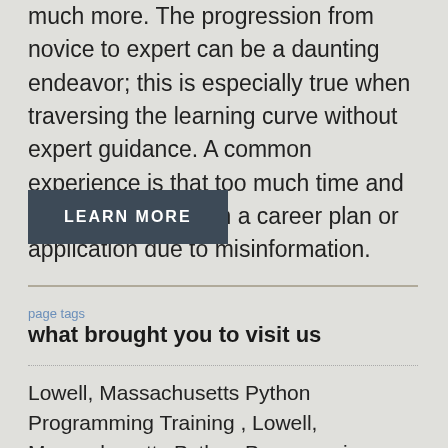much more. The progression from novice to expert can be a daunting endeavor; this is especially true when traversing the learning curve without expert guidance. A common experience is that too much time and money is wasted on a career plan or application due to misinformation.
LEARN MORE
page tags
what brought you to visit us
Lowell, Massachusetts Python Programming Training , Lowell, Massachusetts Python Programming Training Classes, Lowell, Massachusetts Python Programming